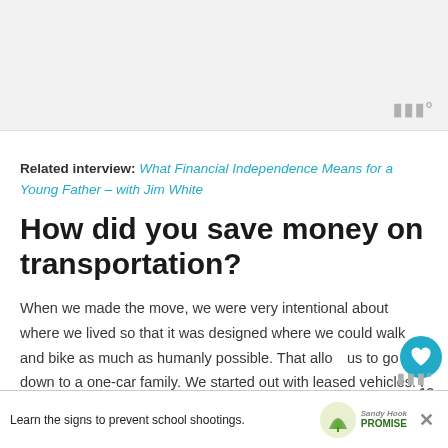[Figure (other): Gray placeholder image area at the top of the page with a watermark icon in the bottom right corner]
Related interview: What Financial Independence Means for a Young Father – with Jim White
How did you save money on transportation?
When we made the move, we were very intentional about where we lived so that it was designed where we could walk and bike as much as humanly possible. That allowed us to go down to a one-car family. We started out with leased vehicles. I had a Mazda 3 Hatchback and Taylor
[Figure (other): Advertisement banner at the bottom: Learn the signs to prevent school shootings. Sandy Hook Promise logo with green tree.]